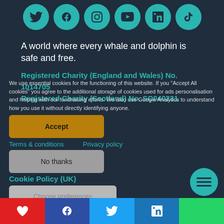[Figure (illustration): Row of six teal social media icon circles: Twitter, Facebook, Instagram, YouTube, LinkedIn, TikTok]
A world where every whale and dolphin is safe and free.
Registered Charity (England and Wales) No. 1014705
Registered Charity (Scotland) No. SC040231
We use essential cookies for the functioning of this website. If you "Accept All cookies" you agree to the additional storage of cookies used for ads personalisation and helping with our fundraising efforts. We also use Google Analytics to understand how you use it without directly identifying anyone.
Accept
Terms & conditions
Privacy policy
No thanks
Cookie Policy (UK)
Choose preferences
[Figure (illustration): Bottom share bar with heart (red), Facebook (blue), Twitter (light blue), LinkedIn (blue), WhatsApp (green) buttons]
[Figure (illustration): Teal circle with icon bottom right]